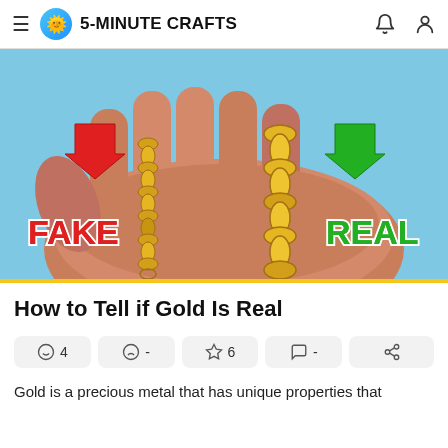5-MINUTE CRAFTS
[Figure (illustration): Illustrated hand holding two gold chains. The left smaller chain is labeled FAKE with a red arrow pointing to it, and the right larger chain is labeled REAL with a green arrow pointing to it. Background is light blue.]
How to Tell if Gold Is Real
4  -  6  -
Gold is a precious metal that has unique properties that